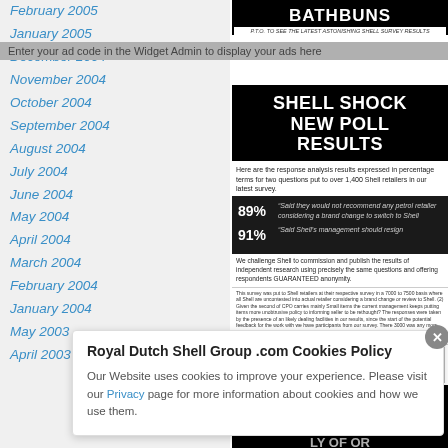February 2005
January 2005
December 2004
November 2004
October 2004
September 2004
August 2004
July 2004
June 2004
May 2004
April 2004
March 2004
February 2004
January 2004
May 2003
April 2003
[Figure (screenshot): BATHBUNS advertisement image at top of right column]
Enter your ad code in the Widget Admin to display your ads here
[Figure (screenshot): SHELL SHOCK NEW POLL RESULTS black panel with 89% and 91% statistics]
Here are the response analysis results expressed in percentage terms for two questions put to over 1,400 Shell retailers in our latest survey.
We challenge Shell to commission and publish the results of independent research using precisely the same questions and offering respondents GUARANTEED anonymity.
55% OF THE RESPONDENTS...
Royal Dutch Shell Group .com Cookies Policy
Our Website uses cookies to improve your experience. Please visit our Privacy page for more information about cookies and how we use them.